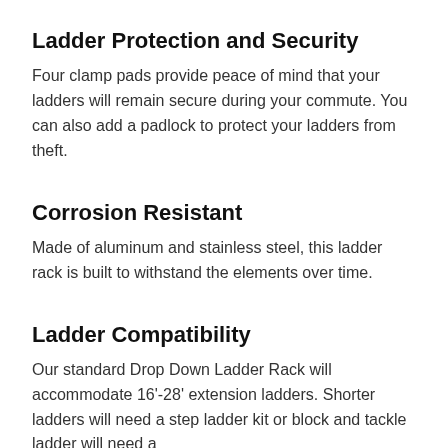Ladder Protection and Security
Four clamp pads provide peace of mind that your ladders will remain secure during your commute. You can also add a padlock to protect your ladders from theft.
Corrosion Resistant
Made of aluminum and stainless steel, this ladder rack is built to withstand the elements over time.
Ladder Compatibility
Our standard Drop Down Ladder Rack will accommodate 16'-28' extension ladders. Shorter ladders will need a step ladder kit or block and tackle ladder will need a ...